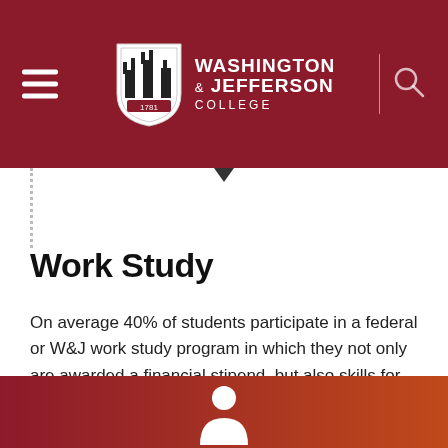[Figure (logo): Washington & Jefferson College logo with shield and college name on dark red header background]
Work Study
On average 40% of students participate in a federal or W&J work study program in which they not only are awarded a financial stipend, but also skills for the future.
[Figure (illustration): Partial view of a thermometer or person icon in white on a red-to-orange gradient footer bar]